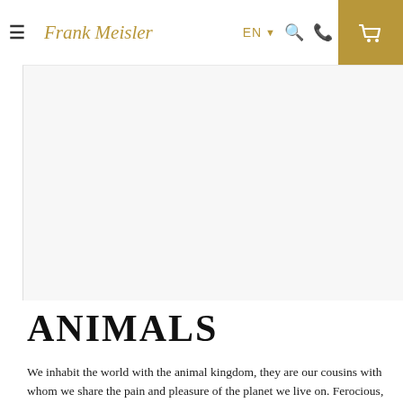Frank Meisler — EN navigation bar with hamburger menu, search, phone, and cart icons
[Figure (photo): Large product or artwork photo placeholder area on white background with light border on left side]
ANIMALS
We inhabit the world with the animal kingdom, they are our cousins with whom we share the pain and pleasure of the planet we live on. Ferocious, pathetic, playful and mysterious, we also share their characteristics. In our...